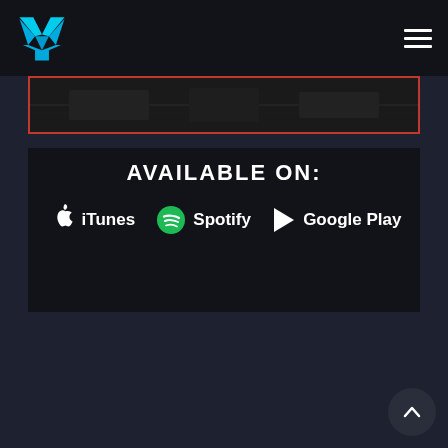Logo and navigation menu
[Figure (screenshot): Dark banner image area with red border containing faint background imagery]
AVAILABLE ON:
[Figure (infographic): Music platform availability row showing iTunes, Spotify, and Google Play logos with names]